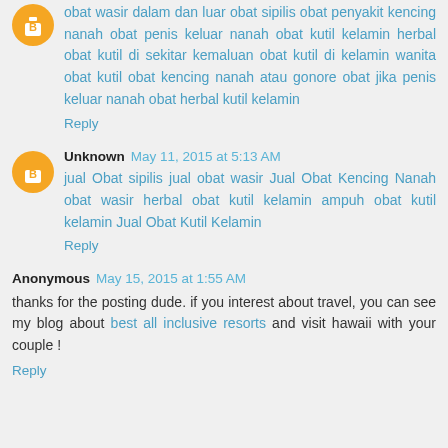obat wasir dalam dan luar obat sipilis obat penyakit kencing nanah obat penis keluar nanah obat kutil kelamin herbal obat kutil di sekitar kemaluan obat kutil di kelamin wanita obat kutil obat kencing nanah atau gonore obat jika penis keluar nanah obat herbal kutil kelamin
Reply
Unknown May 11, 2015 at 5:13 AM
jual Obat sipilis jual obat wasir Jual Obat Kencing Nanah obat wasir herbal obat kutil kelamin ampuh obat kutil kelamin Jual Obat Kutil Kelamin
Reply
Anonymous May 15, 2015 at 1:55 AM
thanks for the posting dude. if you interest about travel, you can see my blog about best all inclusive resorts and visit hawaii with your couple !
Reply